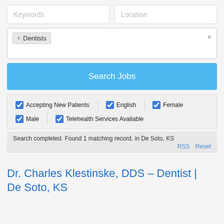[Figure (screenshot): Keywords search input field (placeholder text: Keywords)]
[Figure (screenshot): Location search input field (placeholder text: Location)]
[Figure (screenshot): Tag selection box with 'Dentists' tag selected and an X button]
[Figure (screenshot): Blue Search Jobs button]
[Figure (screenshot): Filter checkboxes: Accepting New Patients (checked), English (checked), Female (checked), Male (checked), Telehealth Services Available (checked)]
Search completed. Found 1 matching record. in De Soto, KS
RSS   Reset
Dr. Charles Klestinske, DDS – Dentist | De Soto, KS